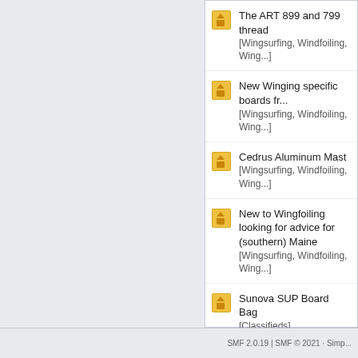The ART 899 and 799 thread [Wingsurfing, Windfoiling, Wing...]
New Winging specific boards fr... [Wingsurfing, Windfoiling, Wing...]
Cedrus Aluminum Mast [Wingsurfing, Windfoiling, Wing...]
New to Wingfoiling looking for advice for (southern) Maine [Wingsurfing, Windfoiling, Wing...]
Sunova SUP Board Bag [Classifieds]
The Gorge [Travel, Trips, Destinations]
Wingfoil Racing in New Englan... [Wingsurfing, Windfoiling, Wing...]
SMF 2.0.19 | SMF © 2021 · Simp...